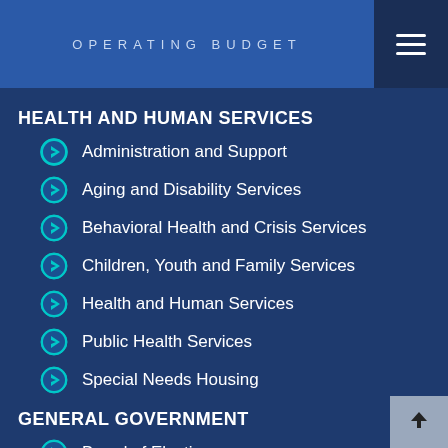OPERATING BUDGET
HEALTH AND HUMAN SERVICES
Administration and Support
Aging and Disability Services
Behavioral Health and Crisis Services
Children, Youth and Family Services
Health and Human Services
Public Health Services
Special Needs Housing
GENERAL GOVERNMENT
Board of Elections
Community Engagement Cluster